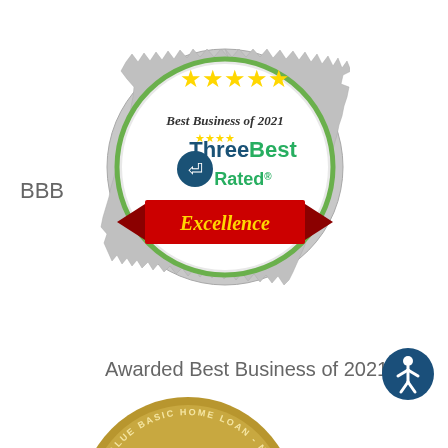[Figure (logo): ThreeBest Rated Best Business of 2021 badge - silver and green seal with gold stars, blue and green ThreeBest Rated logo, and red Excellence ribbon banner]
BBB
Awarded Best Business of 2021
[Figure (logo): Money Magazine Best-Value Basic Home Loan Non-Bank Winner 2021 Best of the Best 2021 circular gold badge]
Best of